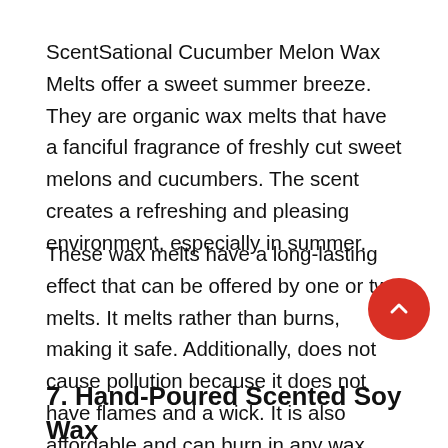ScentSational Cucumber Melon Wax Melts offer a sweet summer breeze. They are organic wax melts that have a fanciful fragrance of freshly cut sweet melons and cucumbers. The scent creates a refreshing and pleasing environment, especially in summer.
These wax melts have a long-lasting effect that can be offered by one or two melts. It melts rather than burns, making it safe. Additionally, does not cause pollution because it does not have flames and a wick. It is also affordable and can burn in any wax melt heater.
7. Hand-Poured Scented Soy Wax